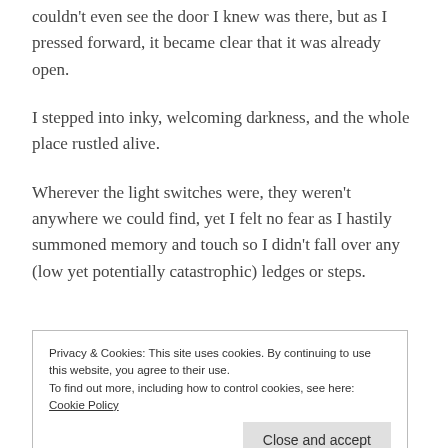couldn't even see the door I knew was there, but as I pressed forward, it became clear that it was already open.
I stepped into inky, welcoming darkness, and the whole place rustled alive.
Wherever the light switches were, they weren't anywhere we could find, yet I felt no fear as I hastily summoned memory and touch so I didn't fall over any (low yet potentially catastrophic) ledges or steps.
Privacy & Cookies: This site uses cookies. By continuing to use this website, you agree to their use. To find out more, including how to control cookies, see here: Cookie Policy
Close and accept
artists, so many performances, yet expansive enough to